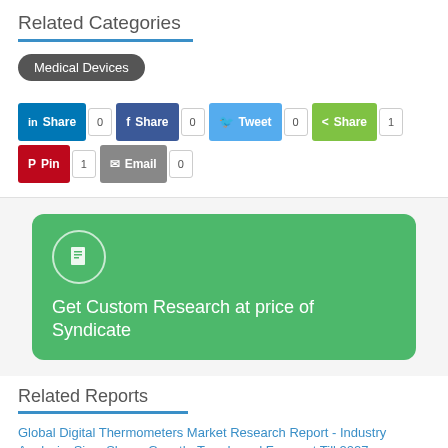Related Categories
Medical Devices
[Figure (screenshot): Social share buttons: LinkedIn Share 0, Facebook Share 0, Twitter Tweet 0, ShareThis Share 1, Pinterest Pin 1, Email 0]
[Figure (infographic): Green CTA box with document icon and text: Get Custom Research at price of Syndicate]
Related Reports
Global Digital Thermometers Market Research Report - Industry Analysis, Size, Share, Growth, Trends and Forecast Till 2027
The report on the Global Digital Thermometers Market gives an estimation of the development of the market based on historical data, current trends and